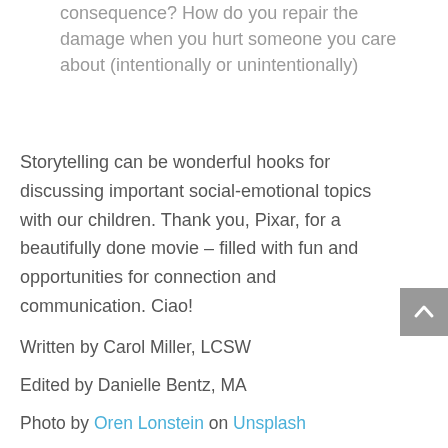consequence? How do you repair the damage when you hurt someone you care about (intentionally or unintentionally)
Storytelling can be wonderful hooks for discussing important social-emotional topics with our children. Thank you, Pixar, for a beautifully done movie – filled with fun and opportunities for connection and communication. Ciao!
Written by Carol Miller, LCSW
Edited by Danielle Bentz, MA
Photo by Oren Lonstein on Unsplash